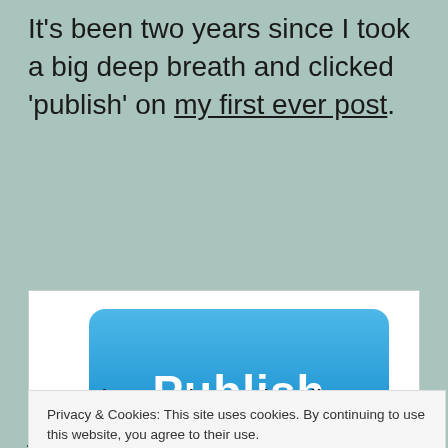It's been two years since I took a big deep breath and clicked 'publish' on my first ever post.
[Figure (illustration): A blue rounded-rectangle 'Publish' button with white bold text, and a hand cursor icon clicking it.]
Privacy & Cookies: This site uses cookies. By continuing to use this website, you agree to their use. To find out more, including how to control cookies, see here: Cookie Policy
new chapter in my healing journey